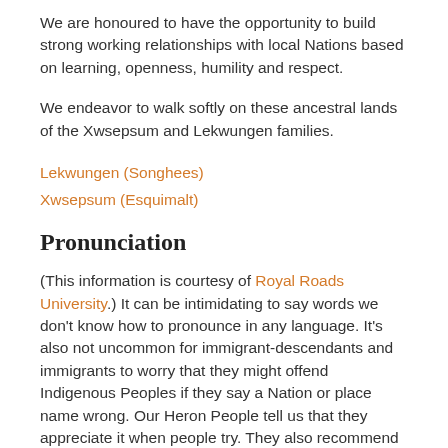We are honoured to have the opportunity to build strong working relationships with local Nations based on learning, openness, humility and respect.
We endeavor to walk softly on these ancestral lands of the Xwsepsum and Lekwungen families.
Lekwungen (Songhees)
Xwsepsum (Esquimalt)
Pronunciation
(This information is courtesy of Royal Roads University.) It can be intimidating to say words we don't know how to pronounce in any language. It's also not uncommon for immigrant-descendants and immigrants to worry that they might offend Indigenous Peoples if they say a Nation or place name wrong. Our Heron People tell us that they appreciate it when people try. They also recommend asking someone who knows how to say the names the way community members